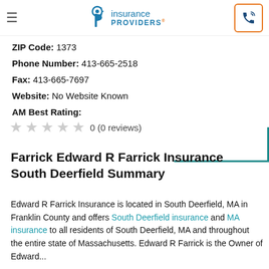Insurance Providers (logo) | hamburger menu | phone button
ZIP Code: 1373
Phone Number: 413-665-2518
Fax: 413-665-7697
Website: No Website Known
AM Best Rating:
0 (0 reviews)
Farrick Edward R Farrick Insurance South Deerfield Summary
Edward R Farrick Insurance is located in South Deerfield, MA in Franklin County and offers South Deerfield insurance and MA insurance to all residents of South Deerfield, MA and throughout the entire state of Massachusetts. Edward R Farrick is the Owner of Edward...